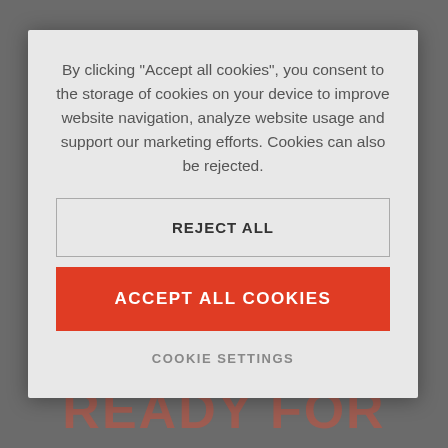By clicking “Accept all cookies”, you consent to the storage of cookies on your device to improve website navigation, analyze website usage and support our marketing efforts. Cookies can also be rejected.
Note: We are currently transitioning to new eCommerce with filters, thumbnails and search functionality for the time being. Please contact your local dealer for any immediate small part needs. We apologize for the inconvenience.
REJECT ALL
ACCEPT ALL COOKIES
COOKIE SETTINGS
READY FOR